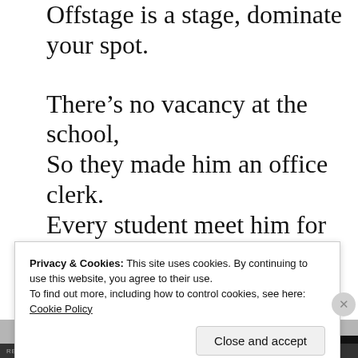Offstage is a stage, dominate your spot.
There’s no vacancy at the school,
So they made him an office clerk.
Every student meet him for tutorials in Further Maths at
Privacy & Cookies: This site uses cookies. By continuing to use this website, you agree to their use.
To find out more, including how to control cookies, see here:
Cookie Policy
Close and accept